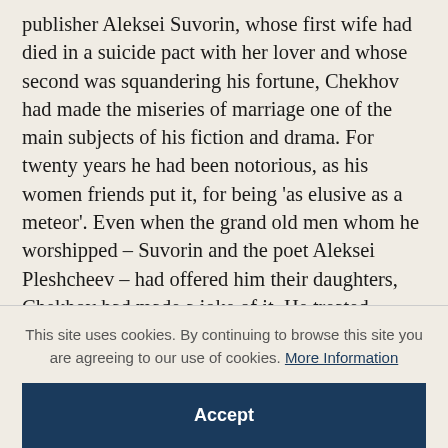publisher Aleksei Suvorin, whose first wife had died in a suicide pact with her lover and whose second was squandering his fortune, Chekhov had made the miseries of marriage one of the main subjects of his fiction and drama. For twenty years he had been notorious, as his women friends put it, for being 'as elusive as a meteor'. Even when the grand old men whom he worshipped – Suvorin and the poet Aleksei Pleshcheev – had offered him their daughters, Chekhov had made a joke of it. He treated Suvorin's daughter (who was 11 when
This site uses cookies. By continuing to browse this site you are agreeing to our use of cookies. More Information
Accept